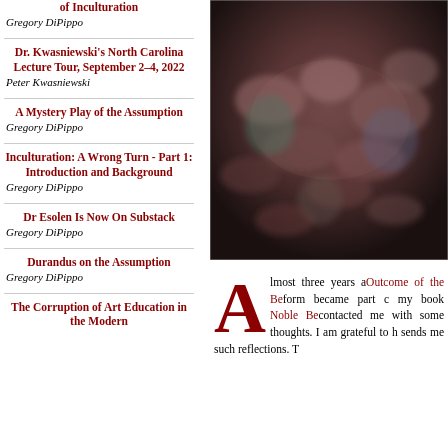of Inculturation
Gregory DiPippo
Dr. Kwasniewski's North Carolina Lecture Tour, September 2–4, 2022
Peter Kwasniewski
A Mystery Play of the Assumption
Gregory DiPippo
Inculturation: A Wrong Turn - Part 1: Introduction and Background
Gregory DiPippo
Dr Esolen Is Now On Substack
Gregory DiPippo
Durandus on the Assumption
Gregory DiPippo
The Corruption of Art Education in the Modern
[Figure (photo): Blurry photo of audience members seated in a darkened venue, seen from above/behind]
Almost three years ago, Outcome of the Be... form became part of my book Noble Be... contacted me with some thoughts. I am grateful to h... sends me such reflections. T...